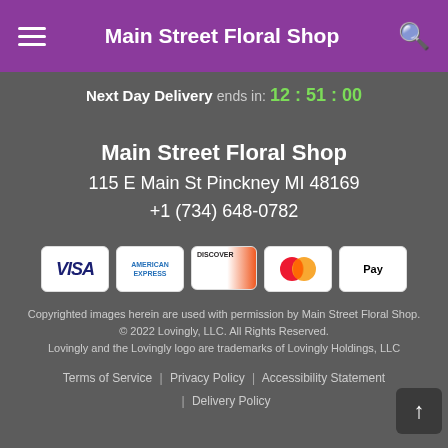Main Street Floral Shop
Next Day Delivery ends in: 12 : 51 : 00
Main Street Floral Shop
115 E Main St Pinckney MI 48169
+1 (734) 648-0782
[Figure (logo): Payment method icons: VISA, American Express, Discover, Mastercard, Apple Pay]
Copyrighted images herein are used with permission by Main Street Floral Shop.
© 2022 Lovingly, LLC. All Rights Reserved.
Lovingly and the Lovingly logo are trademarks of Lovingly Holdings, LLC
Terms of Service | Privacy Policy | Accessibility Statement | Delivery Policy